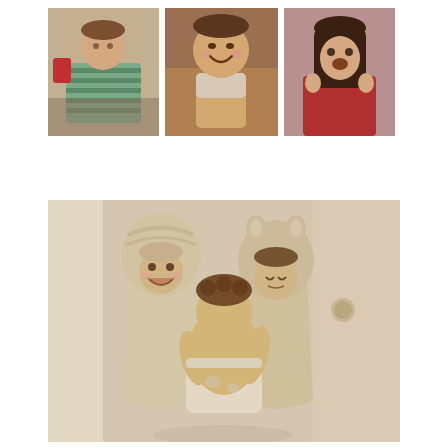[Figure (photo): Three small photos arranged horizontally at the top: left shows a child in a green striped shirt, center shows a laughing toddler, right shows a girl making faces.]
[Figure (photo): Large sepia-toned photo of three young children after bath time: two older children wearing hooded animal towels standing by a door, and a baby/toddler in a diaper standing with its back to the camera.]